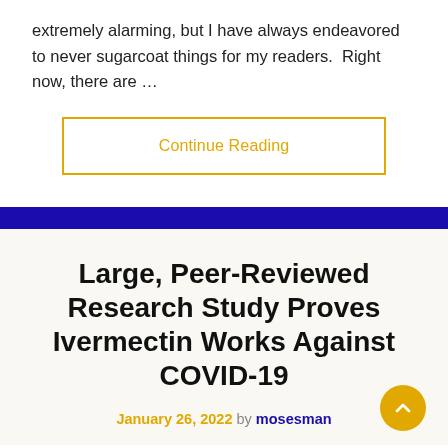extremely alarming, but I have always endeavored to never sugarcoat things for my readers.  Right now, there are …
Continue Reading
Large, Peer-Reviewed Research Study Proves Ivermectin Works Against COVID-19
January 26, 2022 by mosesman